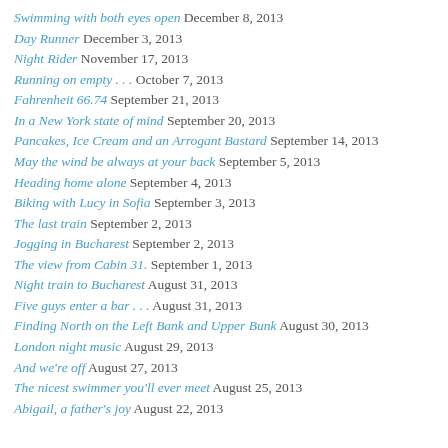Swimming with both eyes open  December 8, 2013
Day Runner  December 3, 2013
Night Rider  November 17, 2013
Running on empty . . .  October 7, 2013
Fahrenheit 66.74  September 21, 2013
In a New York state of mind  September 20, 2013
Pancakes, Ice Cream and an Arrogant Bastard  September 14, 2013
May the wind be always at your back  September 5, 2013
Heading home alone  September 4, 2013
Biking with Lucy in Sofia  September 3, 2013
The last train  September 2, 2013
Jogging in Bucharest  September 2, 2013
The view from Cabin 31.  September 1, 2013
Night train to Bucharest  August 31, 2013
Five guys enter a bar . . .  August 31, 2013
Finding North on the Left Bank and Upper Bunk  August 30, 2013
London night music  August 29, 2013
And we're off  August 27, 2013
The nicest swimmer you'll ever meet  August 25, 2013
Abigail, a father's joy  August 22, 2013